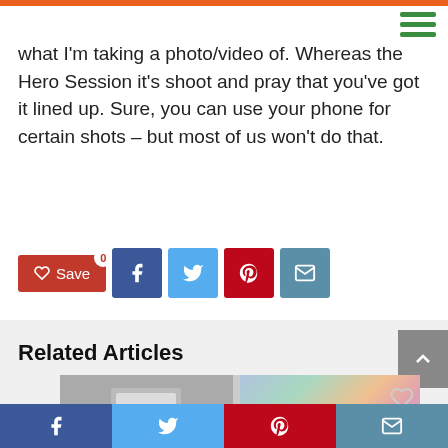what I'm taking a photo/video of. Whereas the Hero Session it's shoot and pray that you've got it lined up. Sure, you can use your phone for certain shots – but most of us won't do that.
[Figure (infographic): Social sharing buttons row: Save (red with heart icon, count badge 0), Facebook (dark blue), Twitter (light blue), Pinterest (red), Email (teal/blue)]
Related Articles
[Figure (photo): Thumbnail image showing a laptop screen on the left half (grey, blurred) and colorful bokeh lights on the right half]
Social share bar: Facebook, Twitter, Pinterest, Email